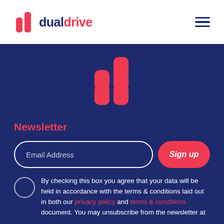[Figure (logo): DualDrive logo with red hash-grid icon and two-tone wordmark: 'dual' in dark navy, 'drive' in red]
[Figure (logo): Hamburger menu icon with three dark navy horizontal lines]
[Figure (logo): Large red hash/grid icon on dark navy background, center of page]
Newsletter
Email Address
Sign up
By checking this box you agree that your data will be held in accordance with the terms & conditions laid out in both our privacy policy and terms & conditions document. You may unsubscribe from the newsletter at